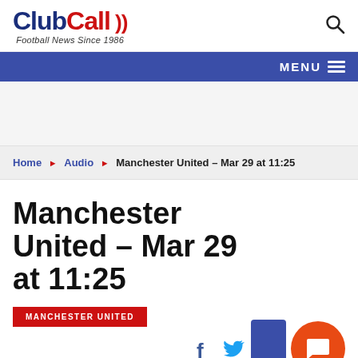ClubCall - Football News Since 1986
MENU
Home ▶ Audio ▶ Manchester United – Mar 29 at 11:25
Manchester United – Mar 29 at 11:25
MANCHESTER UNITED